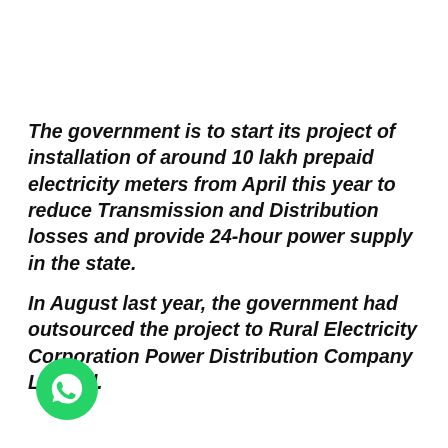The government is to start its project of installation of around 10 lakh prepaid electricity meters from April this year to reduce Transmission and Distribution  losses and provide 24-hour power supply in the state.
In August last year, the government had outsourced the project to Rural Electricity Corporation Power Distribution Company Limited.
[Figure (logo): WhatsApp logo — green circle with white phone/chat handset icon]